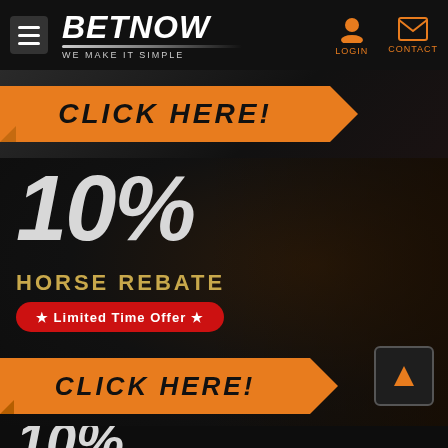BETNOW — WE MAKE IT SIMPLE — LOGIN — CONTACT
[Figure (screenshot): Orange ribbon banner with text CLICK HERE! at the top of the page]
[Figure (infographic): 10% Horse Rebate promotional banner with Limited Time Offer badge and CLICK HERE! orange ribbon button, featuring a dark background with a jockey silhouette]
[Figure (screenshot): Partial 10% text at the bottom of the page leading into another promo]